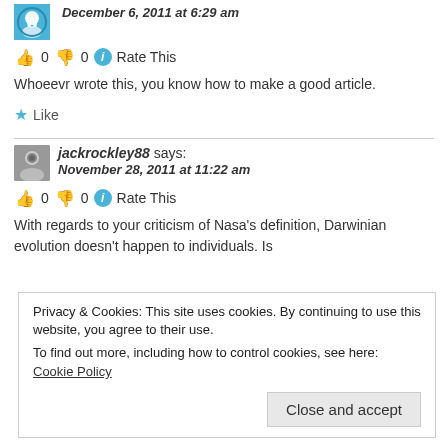December 6, 2011 at 6:29 am
👍 0 👎 0 ℹ Rate This
Whoeevr wrote this, you know how to make a good article.
★ Like
jackrockley88 says:
November 28, 2011 at 11:22 am
👍 0 👎 0 ℹ Rate This
With regards to your criticism of Nasa's definition, Darwinian evolution doesn't happen to individuals. Is
★ Like
Privacy & Cookies: This site uses cookies. By continuing to use this website, you agree to their use.
To find out more, including how to control cookies, see here: Cookie Policy